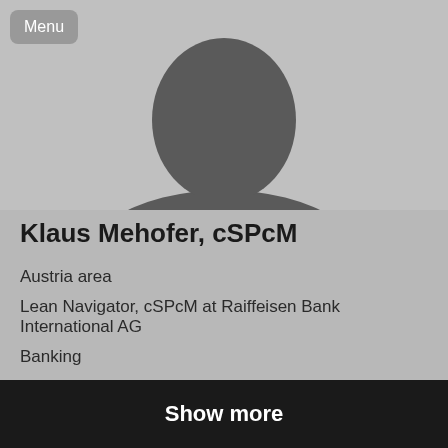[Figure (photo): Default silhouette profile photo placeholder — grey background with darker grey human head and shoulder silhouette]
Menu
Klaus Mehofer, cSPcM
Austria area
Lean Navigator, cSPcM at Raiffeisen Bank International AG
Banking
Show more